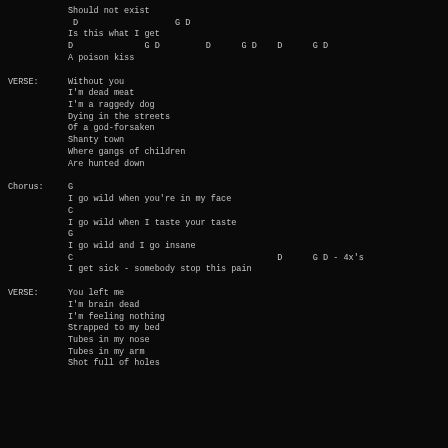Should not exist
D                   G D
Is this what I get
D              G D         D      G D    D      G D
A poison kiss
VERSE:
Without you
I'm dead meat
I'm a raggedy dog
Dying in the streets
Of a god-forsaken
Shanty town
Where gangs of children
Are hunted down
Chorus:
G
I go wild when you're in my face
C
I go wild when I taste your taste
G
I go wild and I go insane
C                                        D      G D - 4x's
I get sick - somebody stop this pain
VERSE:
You left me
I'm brain dead
I'm feeling nothing
Strapped to my bed
Tubes in my nose
Tubes in my arm
Shot full of holes